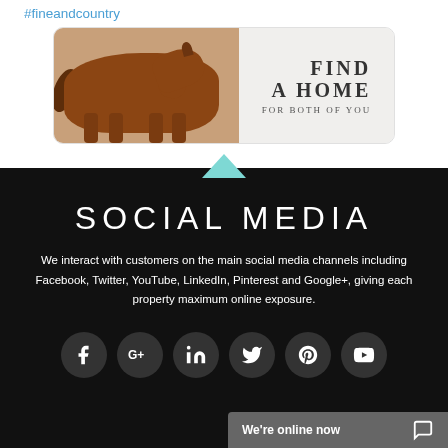#fineandcountry
[Figure (photo): Advertisement image showing a chestnut horse on the left side with text 'FIND A HOME FOR BOTH OF YOU' on the right side]
SOCIAL MEDIA
We interact with customers on the main social media channels including Facebook, Twitter, YouTube, LinkedIn, Pinterest and Google+, giving each property maximum online exposure.
[Figure (infographic): Row of social media icon circles: Facebook, Google+, LinkedIn, Twitter, Pinterest, YouTube]
We're online now